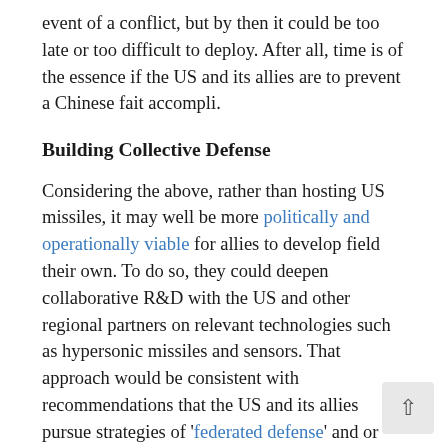event of a conflict, but by then it could be too late or too difficult to deploy. After all, time is of the essence if the US and its allies are to prevent a Chinese fait accompli.
Building Collective Defense
Considering the above, rather than hosting US missiles, it may well be more politically and operationally viable for allies to develop field their own. To do so, they could deepen collaborative R&D with the US and other regional partners on relevant technologies such as hypersonic missiles and sensors. That approach would be consistent with recommendations that the US and its allies pursue strategies of 'federated defense' and or